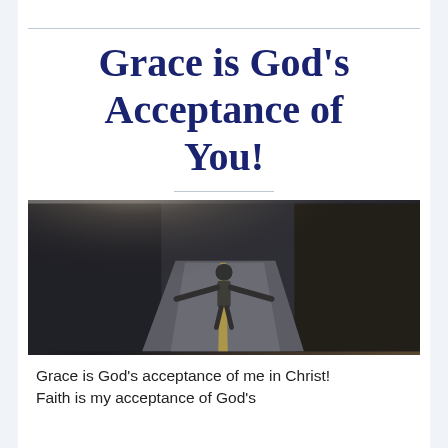Grace is God's Acceptance of You!
[Figure (photo): Person standing on a dark road with arms outstretched, light rays shining from ahead]
Grace is God's acceptance of me in Christ! Faith is my acceptance of God's